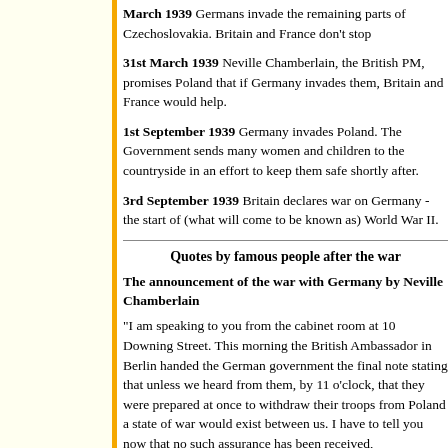March 1939 Germans invade the remaining parts of Czechoslovakia. Britain and France don't stop them.
31st March 1939 Neville Chamberlain, the British PM, promises Poland that if Germany invades them, Britain and France would help.
1st September 1939 Germany invades Poland. The Government sends many women and children to the countryside in an effort to keep them safe shortly after.
3rd September 1939 Britain declares war on Germany - the start of (what will come to be known as) World War II.
Quotes by famous people after the war
The announcement of the war with Germany by Neville Chamberlain
"I am speaking to you from the cabinet room at 10 Downing Street. This morning the British Ambassador in Berlin handed the German government the final note stating that, unless we heard from them, by 11 o'clock, that they were prepared at once to withdraw their troops from Poland a state of war would exist between us. I have to tell you now that no su...